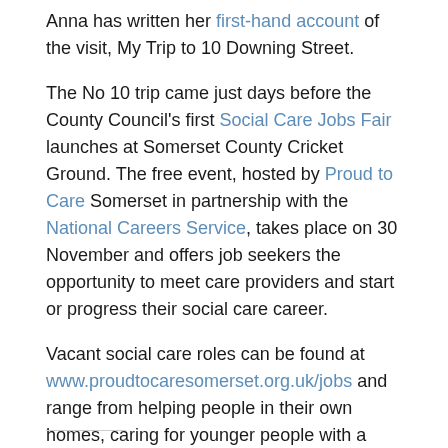Anna has written her first-hand account of the visit, My Trip to 10 Downing Street.
The No 10 trip came just days before the County Council's first Social Care Jobs Fair launches at Somerset County Cricket Ground. The free event, hosted by Proud to Care Somerset in partnership with the National Careers Service, takes place on 30 November and offers job seekers the opportunity to meet care providers and start or progress their social care career.
Vacant social care roles can be found at www.proudtocaresomerset.org.uk/jobs and range from helping people in their own homes, caring for younger people with a learning disability, to helping people in residential care.